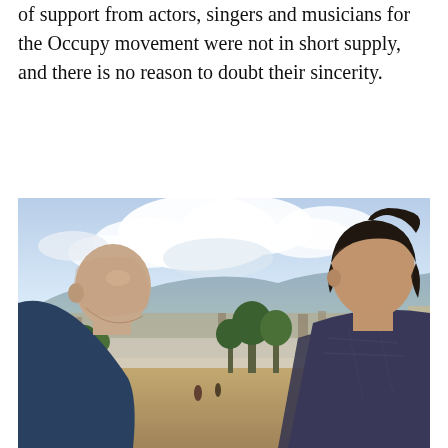of support from actors, singers and musicians for the Occupy movement were not in short supply, and there is no reason to doubt their sincerity.
[Figure (photo): Two men standing outdoors, looking upward, with a city, hills, trees, and a partly cloudy sky in the background. The man on the left is bald and wearing a dark blue shirt; the man on the right has dark hair and is wearing a plaid shirt.]